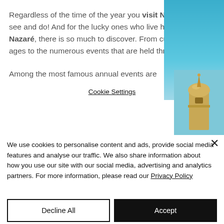Regardless of the time of the year you visit Nazaré, there are always things to see and do! And for the lucky ones who live here or have a holiday home in Nazaré, there is so much to discover. From cultural and sports activities for all ages to the numerous events that are held throughout the year.
Among the most famous annual events are
[Figure (photo): Photo showing a blue sky and the top of a golden minaret/dome structure on the right side of the page]
We use cookies to personalise content and ads, provide social media features and analyse our traffic. We also share information about how you use our site with our social media, advertising and analytics partners. For more information, please read our Privacy Policy
Decline All
Accept
Cookie Settings